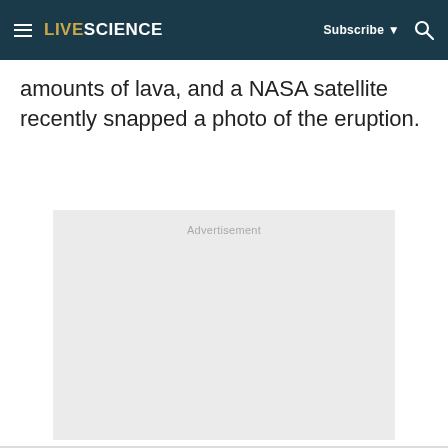LIVESCIENCE  Subscribe  [search]
amounts of lava, and a NASA satellite recently snapped a photo of the eruption.
[Figure (other): Advertisement placeholder box with light gray background and 'Advertisement' label at top center]